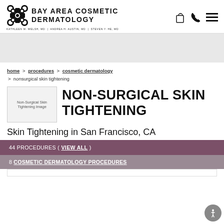[Figure (logo): Bay Area Cosmetic Dermatology logo with ornamental icon, clinic name, and doctor names: Kathleen M. Welsh, MD | Andrea H. Austin, MD | Steven Y. He, MD]
[Figure (infographic): Gray hero banner area below header navigation]
home > procedures > cosmetic dermatology > nonsurgical skin tightening
[Figure (photo): Non-Surgical Skin Tightening Image placeholder]
NON-SURGICAL SKIN TIGHTENING
Skin Tightening in San Francisco, CA
44 PROCEDURES ( VIEW ALL )
8 COSMETIC DERMATOLOGY PROCEDURES